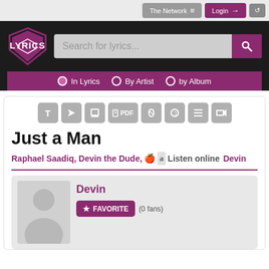The Network ≡   Login →   ↺
[Figure (screenshot): Lyrics website header with shield logo, search bar reading 'Search for lyrics...', purple search button with magnifying glass icon, and sub-navigation with radio buttons for 'In Lyrics', 'By Artist', 'by Album']
Just a Man
Raphael Saadiq, Devin the Dude,  🍎  a  Listen online
Devin
Devin   ★ FAVORITE  (0 fans)